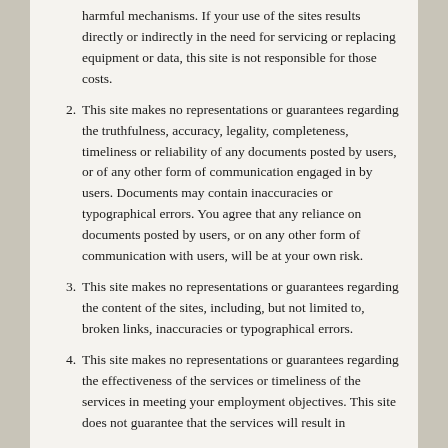harmful mechanisms. If your use of the sites results directly or indirectly in the need for servicing or replacing equipment or data, this site is not responsible for those costs.
2. This site makes no representations or guarantees regarding the truthfulness, accuracy, legality, completeness, timeliness or reliability of any documents posted by users, or of any other form of communication engaged in by users. Documents may contain inaccuracies or typographical errors. You agree that any reliance on documents posted by users, or on any other form of communication with users, will be at your own risk.
3. This site makes no representations or guarantees regarding the content of the sites, including, but not limited to, broken links, inaccuracies or typographical errors.
4. This site makes no representations or guarantees regarding the effectiveness of the services or timeliness of the services in meeting your employment objectives. This site does not guarantee that the services will result in